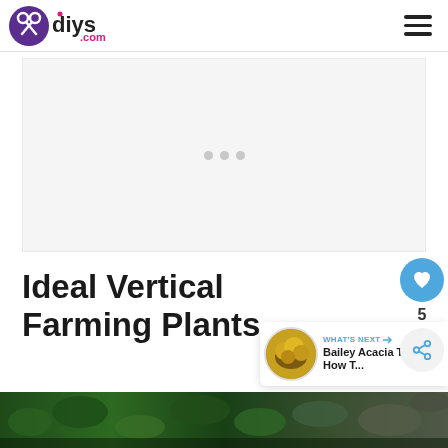diys.com
[Figure (other): Advertisement placeholder area with light gray background and loading dots]
Ideal Vertical Farming Plants
[Figure (other): What's Next widget showing Bailey Acacia Tree article thumbnail with yellow/gold foliage, with like (heart) button showing 5 likes and share button]
[Figure (photo): Bottom portion of a photo showing green plants/vegetation for vertical farming article]